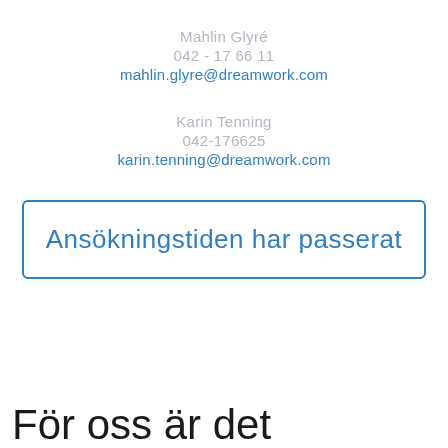Mahlin Glyré
042 - 17 66 11
mahlin.glyre@dreamwork.com
Karin Tenning
042-176625
karin.tenning@dreamwork.com
Ansökningstiden har passerat
För oss är det